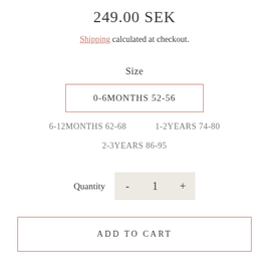249.00 SEK
Shipping calculated at checkout.
Size
0-6MONTHS 52-56
6-12MONTHS 62-68
1-2YEARS 74-80
2-3YEARS 86-95
Quantity  -  1  +
ADD TO CART